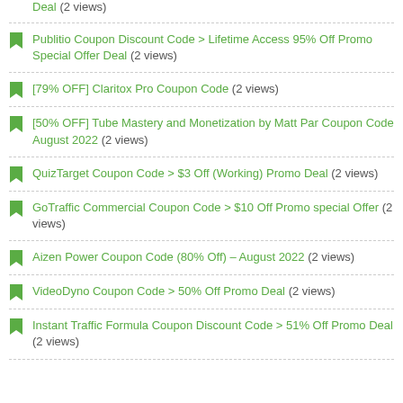Deal (2 views)
Publitio Coupon Discount Code > Lifetime Access 95% Off Promo Special Offer Deal (2 views)
[79% OFF] Claritox Pro Coupon Code (2 views)
[50% OFF] Tube Mastery and Monetization by Matt Par Coupon Code August 2022 (2 views)
QuizTarget Coupon Code > $3 Off (Working) Promo Deal (2 views)
GoTraffic Commercial Coupon Code > $10 Off Promo special Offer (2 views)
Aizen Power Coupon Code (80% Off) – August 2022 (2 views)
VideoDyno Coupon Code > 50% Off Promo Deal (2 views)
Instant Traffic Formula Coupon Discount Code > 51% Off Promo Deal (2 views)